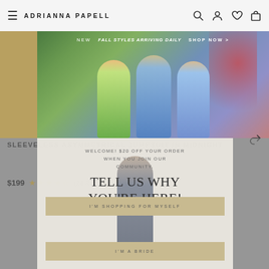ADRIANNA PAPELL
[Figure (photo): Banner showing three women models in colorful dresses with text NEW Fall Styles Arriving Daily SHOP NOW >]
SLEEVELESS ASYMMETRICAL JUMPSUIT IN MIDNIGHT
$199 ★★★★☆ (24 Reviews)
[Figure (screenshot): Modal popup overlay with welcome offer and woman model. Text: WELCOME! $20 OFF YOUR ORDER WHEN YOU JOIN OUR COMMUNITY. TELL US WHY YOU'RE HERE! Buttons: I'M SHOPPING FOR MYSELF, I'M A BRIDE]